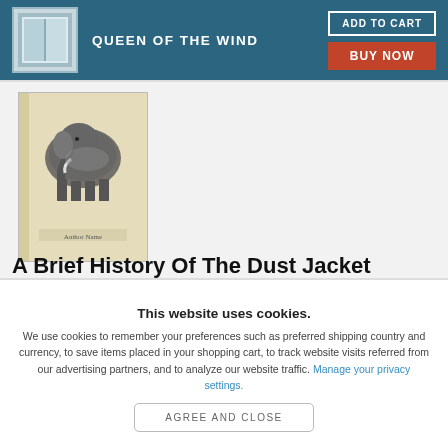QUEEN OF THE WIND
[Figure (photo): Book cover showing an elephant illustration with text, aged yellowish cover, author name at bottom]
A Brief History Of The Dust Jacket
This website uses cookies.
We use cookies to remember your preferences such as preferred shipping country and currency, to save items placed in your shopping cart, to track website visits referred from our advertising partners, and to analyze our website traffic. Manage your privacy settings.
AGREE AND CLOSE